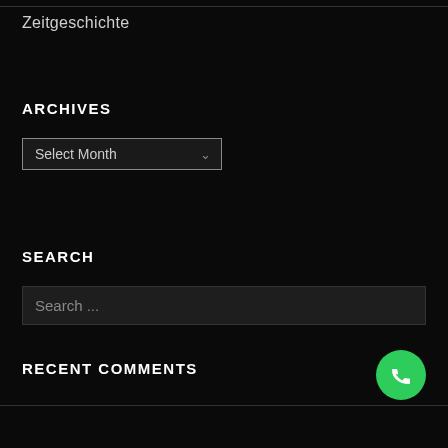Zeitgeschichte
ARCHIVES
[Figure (screenshot): A dropdown selector UI element showing 'Select Month' with a chevron/dropdown arrow]
SEARCH
[Figure (screenshot): A search input field with placeholder text 'Search ...']
RECENT COMMENTS
[Figure (other): Green circular phone/call button with a phone handset icon]